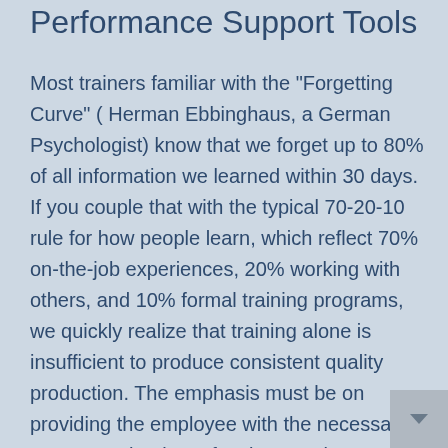Performance Support Tools
Most trainers familiar with the "Forgetting Curve" ( Herman Ebbinghaus, a German Psychologist) know that we forget up to 80% of all information we learned within 30 days. If you couple that with the typical 70-20-10 rule for how people learn, which reflect 70% on-the-job experiences, 20% working with others, and 10% formal training programs, we quickly realize that training alone is insufficient to produce consistent quality production. The emphasis must be on providing the employee with the necessary content at the time of task execution to improve performance of a